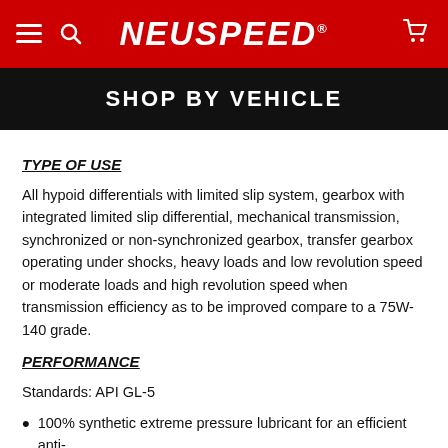NEUSPEED
SHOP BY VEHICLE
TYPE OF USE
All hypoid differentials with limited slip system, gearbox with integrated limited slip differential, mechanical transmission, synchronized or non-synchronized gearbox, transfer gearbox operating under shocks, heavy loads and low revolution speed or moderate loads and high revolution speed when transmission efficiency as to be improved compare to a 75W-140 grade.
PERFORMANCE
Standards: API GL-5
100% synthetic extreme pressure lubricant for an efficient anti-